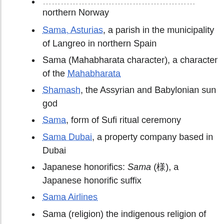northern Norway
Sama, Asturias, a parish in the municipality of Langreo in northern Spain
Sama (Mahabharata character), a character of the Mahabharata
Shamash, the Assyrian and Babylonian sun god
Sama, form of Sufi ritual ceremony
Sama Dubai, a property company based in Dubai
Japanese honorifics: Sama (様), a Japanese honorific suffix
Sama Airlines
Sama (religion) the indigenous religion of the Munda people of India
Sama, A name